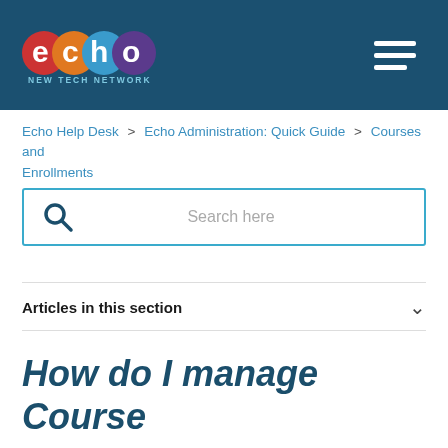[Figure (logo): Echo New Tech Network logo with colorful overlapping circles spelling 'echo' and tagline 'NEW TECH NETWORK']
Echo Help Desk > Echo Administration: Quick Guide > Courses and Enrollments
Search here
Articles in this section
How do I manage Course